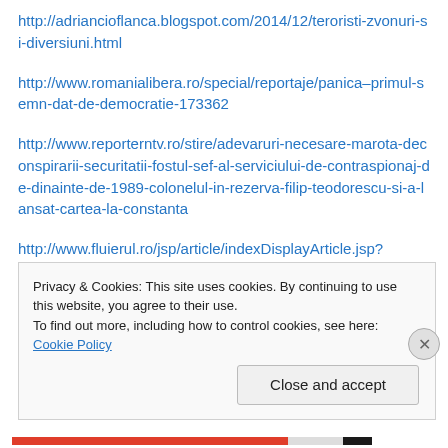http://adriancioflanca.blogspot.com/2014/12/teroristi-zvonuri-si-diversiuni.html
http://www.romanialibera.ro/special/reportaje/panica–primul-semn-dat-de-democratie-173362
http://www.reporterntv.ro/stire/adevaruri-necesare-marota-deconspirarii-securitatii-fostul-sef-al-serviciului-de-contraspionaj-de-dinainte-de-1989-colonelul-in-rezerva-filip-teodorescu-si-a-lansat-cartea-la-constanta
http://www.fluierul.ro/jsp/article/indexDisplayArticle.jsp?
Privacy & Cookies: This site uses cookies. By continuing to use this website, you agree to their use.
To find out more, including how to control cookies, see here: Cookie Policy